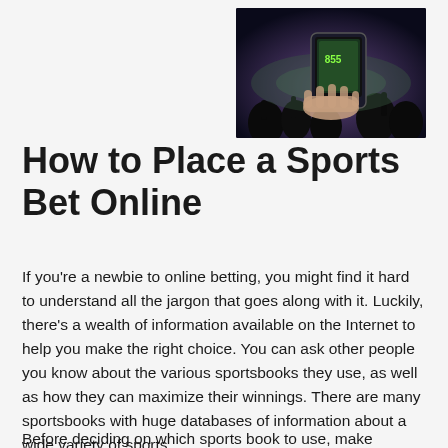[Figure (photo): A hand holding a smartphone at a sports stadium with crowd silhouettes in the background, suggesting mobile sports betting.]
How to Place a Sports Bet Online
If you’re a newbie to online betting, you might find it hard to understand all the jargon that goes along with it. Luckily, there’s a wealth of information available on the Internet to help you make the right choice. You can ask other people you know about the various sportsbooks they use, as well as how they can maximize their winnings. There are many sportsbooks with huge databases of information about a wide variety of sports.
Before deciding on which sports book to use, make